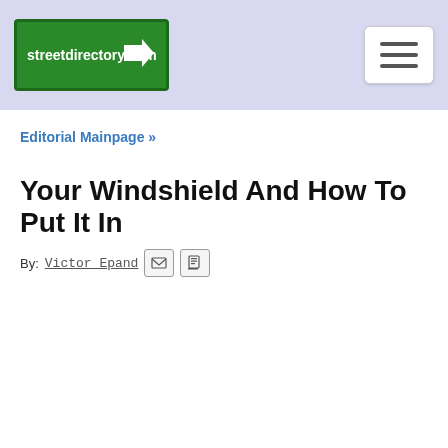streetdirectory.com
Editorial Mainpage »
Your Windshield And How To Put It In
By: Victor Epand